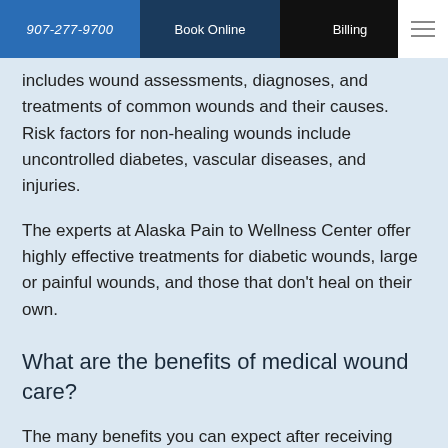907-277-9700 | Book Online | Billing
includes wound assessments, diagnoses, and treatments of common wounds and their causes. Risk factors for non-healing wounds include uncontrolled diabetes, vascular diseases, and injuries.
The experts at Alaska Pain to Wellness Center offer highly effective treatments for diabetic wounds, large or painful wounds, and those that don't heal on their own.
What are the benefits of medical wound care?
The many benefits you can expect after receiving wound care with the Alaska Pain to Wellness